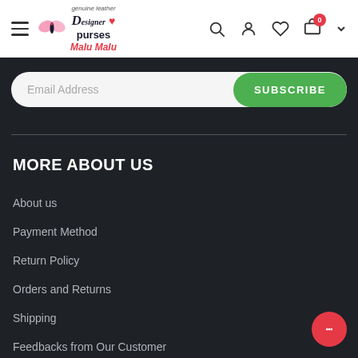[Figure (logo): Designer Purses Malu Malu logo with butterfly and text]
Email Address
SUBSCRIBE
MORE ABOUT US
About us
Payment Method
Return Policy
Orders and Returns
Shipping
Feedbacks from Our Customer
Contact us